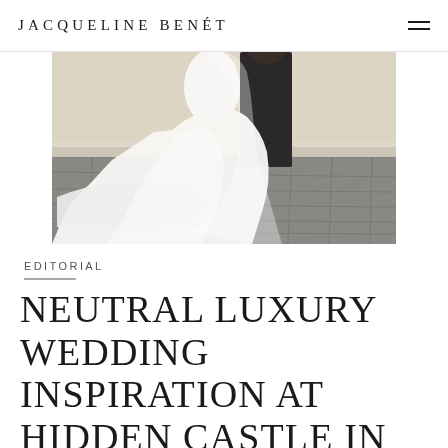JACQUELINE BENÉT
[Figure (photo): Wedding photo showing a bride in a long flowing white tulle dress and groom in dark suit walking on a stone tile floor with a stone/stucco wall in the background. The bride's dress train is spread across the floor.]
EDITORIAL
NEUTRAL LUXURY WEDDING INSPIRATION AT HIDDEN CASTLE IN